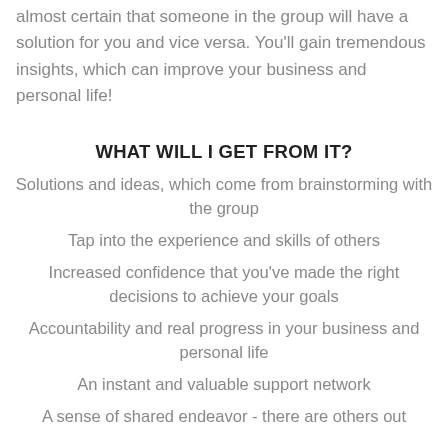almost certain that someone in the group will have a solution for you and vice versa. You'll gain tremendous insights, which can improve your business and personal life!
WHAT WILL I GET FROM IT?
Solutions and ideas, which come from brainstorming with the group
Tap into the experience and skills of others
Increased confidence that you've made the right decisions to achieve your goals
Accountability and real progress in your business and personal life
An instant and valuable support network
A sense of shared endeavor - there are others out